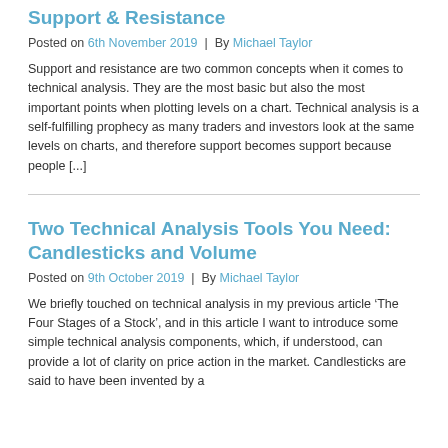Support & Resistance
Posted on 6th November 2019 | By Michael Taylor
Support and resistance are two common concepts when it comes to technical analysis. They are the most basic but also the most important points when plotting levels on a chart. Technical analysis is a self-fulfilling prophecy as many traders and investors look at the same levels on charts, and therefore support becomes support because people [...]
Two Technical Analysis Tools You Need: Candlesticks and Volume
Posted on 9th October 2019 | By Michael Taylor
We briefly touched on technical analysis in my previous article ‘The Four Stages of a Stock’, and in this article I want to introduce some simple technical analysis components, which, if understood, can provide a lot of clarity on price action in the market. Candlesticks are said to have been invented by a